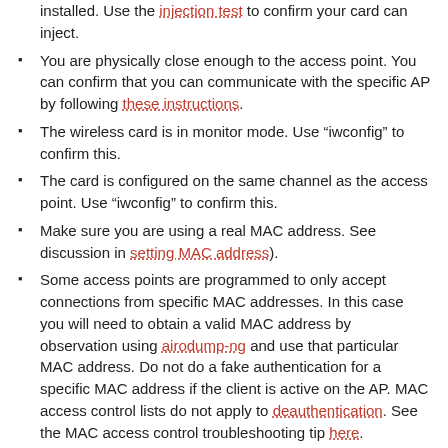installed. Use the injection test to confirm your card can inject.
You are physically close enough to the access point. You can confirm that you can communicate with the specific AP by following these instructions.
The wireless card is in monitor mode. Use “iwconfig” to confirm this.
The card is configured on the same channel as the access point. Use “iwconfig” to confirm this.
Make sure you are using a real MAC address. See discussion in setting MAC address).
Some access points are programmed to only accept connections from specific MAC addresses. In this case you will need to obtain a valid MAC address by observation using airodump-ng and use that particular MAC address. Do not do a fake authentication for a specific MAC address if the client is active on the AP. MAC access control lists do not apply to deauthentication. See the MAC access control troubleshooting tip here.